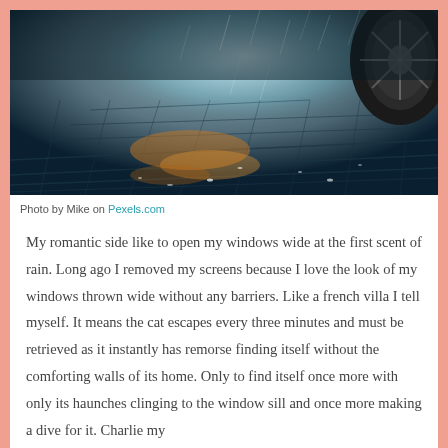[Figure (photo): Close-up photo of wet cobblestone pavement at night with reflections of light; a car tire is partially visible in the upper right corner. Rain is visible and light reflects off the wet stones creating dramatic lighting.]
Photo by Mike on Pexels.com
My romantic side like to open my windows wide at the first scent of rain. Long ago I removed my screens because I love the look of my windows thrown wide without any barriers. Like a french villa I tell myself. It means the cat escapes every three minutes and must be retrieved as it instantly has remorse finding itself without the comforting walls of its home. Only to find itself once more with only its haunches clinging to the window sill and once more making a dive for it. Charlie my